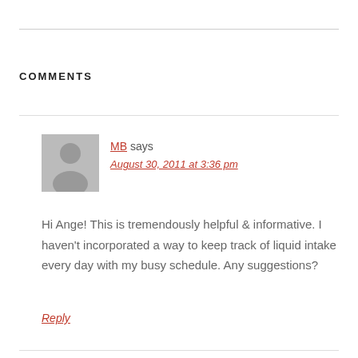COMMENTS
[Figure (illustration): Gray placeholder avatar with silhouette of a person (head and shoulders), representing user MB]
MB says
August 30, 2011 at 3:36 pm
Hi Ange! This is tremendously helpful & informative. I haven't incorporated a way to keep track of liquid intake every day with my busy schedule. Any suggestions?
Reply